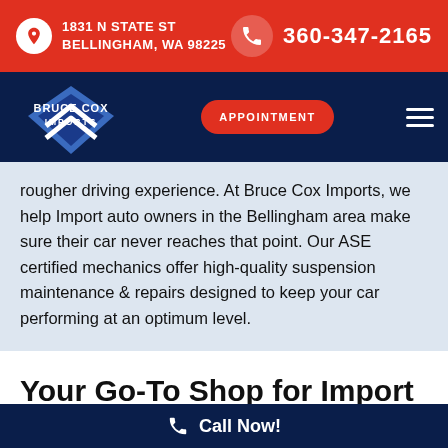1831 N STATE ST BELLINGHAM, WA 98225 | 360-347-2165
[Figure (logo): Bruce Cox Imports logo with blue diamond/arrow shape and white text, with APPOINTMENT button and hamburger menu]
rougher driving experience. At Bruce Cox Imports, we help Import auto owners in the Bellingham area make sure their car never reaches that point. Our ASE certified mechanics offer high-quality suspension maintenance & repairs designed to keep your car performing at an optimum level.
Your Go-To Shop for Import Auto Service
Call Now!